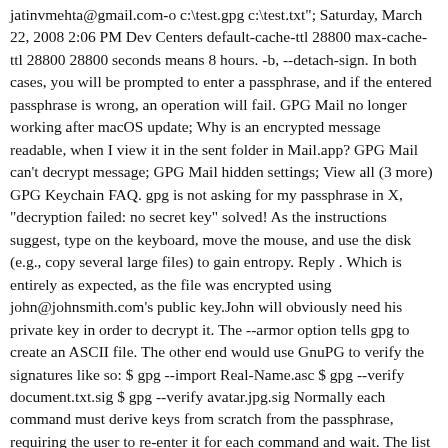jatinvmehta@gmail.com-o c:\test.gpg c:\test.txt"; Saturday, March 22, 2008 2:06 PM Dev Centers default-cache-ttl 28800 max-cache-ttl 28800 28800 seconds means 8 hours. -b, --detach-sign. In both cases, you will be prompted to enter a passphrase, and if the entered passphrase is wrong, an operation will fail. GPG Mail no longer working after macOS update; Why is an encrypted message readable, when I view it in the sent folder in Mail.app? GPG Mail can't decrypt message; GPG Mail hidden settings; View all (3 more) GPG Keychain FAQ. gpg is not asking for my passphrase in X, "decryption failed: no secret key" solved! As the instructions suggest, type on the keyboard, move the mouse, and use the disk (e.g., copy several large files) to gain entropy. Reply . Which is entirely as expected, as the file was encrypted using john@johnsmith.com's public key.John will obviously need his private key in order to decrypt it. The --armor option tells gpg to create an ASCII file. The other end would use GnuPG to verify the signatures like so: $ gpg --import Real-Name.asc $ gpg --verify document.txt.sig $ gpg --verify avatar.jpg.sig Normally each command must derive keys from scratch from the passphrase, requiring the user to re-enter it for each command and wait. The list is redisplayed with an * next to the selected one. Once I input the passphrase all works well, so I know the command is just fine. -e